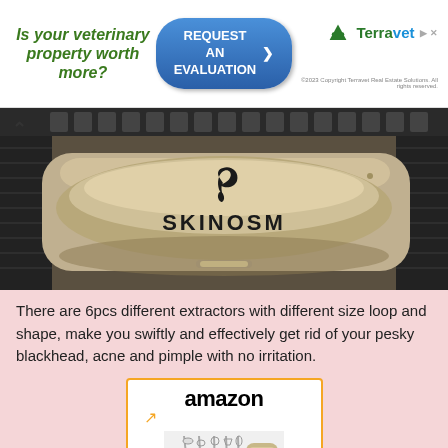[Figure (advertisement): Terravet Real Estate Solutions ad banner: 'Is your veterinary property worth more?' with a 'REQUEST AN EVALUATION' button and Terravet logo with copyright notice]
[Figure (photo): Close-up product photo of a silver metal case labeled 'SKINOSM' with decorative feather/swan logo, placed on a dark textured surface. A caret/up arrow is visible in the top-left.]
There are 6pcs different extractors with different size loop and shape, make you swiftly and effectively get rid of your pesky blackhead, acne and pimple with no irritation.
[Figure (advertisement): Amazon advertisement showing the 'amazon' logo with orange smile arrow, and a product image of metal blackhead extractor tools with a SKINOSM case]